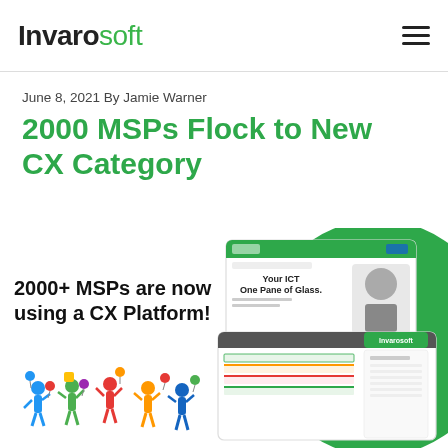Invarosoft
June 8, 2021 By Jamie Warner
2000 MSPs Flock to New CX Category
[Figure (illustration): Promotional graphic with text '2000+ MSPs are now using a CX Platform!' on the left, a group of celebrating people at the bottom left, and a green circle background on the right showing screenshots of an ICT platform interface labeled 'Your ICT One Pane of Glass.']